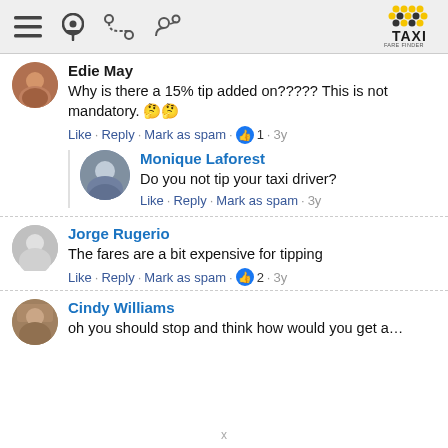Taxi Fare Finder app header with menu, location, route, and share icons and TAXI FARE FINDER logo
Edie May
Why is there a 15% tip added on????? This is not mandatory. 🤔🤔
Like · Reply · Mark as spam · 👍 1 · 3y
Monique Laforest
Do you not tip your taxi driver?
Like · Reply · Mark as spam · 3y
Jorge Rugerio
The fares are a bit expensive for tipping
Like · Reply · Mark as spam · 👍 2 · 3y
Cindy Williams
oh you should stop and think how would you get around